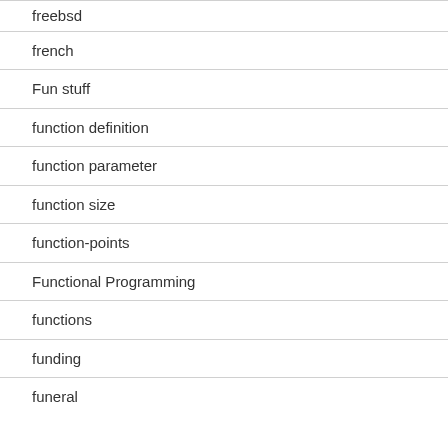freebsd
french
Fun stuff
function definition
function parameter
function size
function-points
Functional Programming
functions
funding
funeral